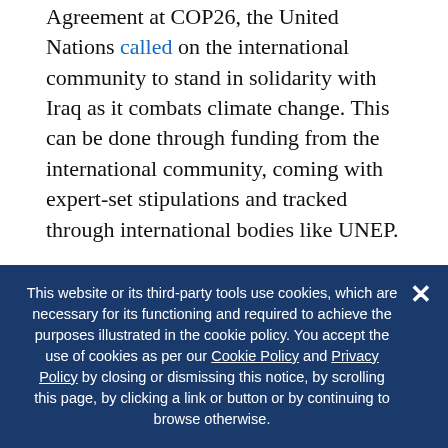Agreement at COP26, the United Nations called on the international community to stand in solidarity with Iraq as it combats climate change. This can be done through funding from the international community, coming with expert-set stipulations and tracked through international bodies like UNEP.
Through some of the above-proposed methods and more research, the Iraqi government and population can take the necessary steps to protect their country from the changing climate and safeguard Iraq for future generations.
This website or its third-party tools use cookies, which are necessary for its functioning and required to achieve the purposes illustrated in the cookie policy. You accept the use of cookies as per our Cookie Policy and Privacy Policy by closing or dismissing this notice, by scrolling this page, by clicking a link or button or by continuing to browse otherwise.